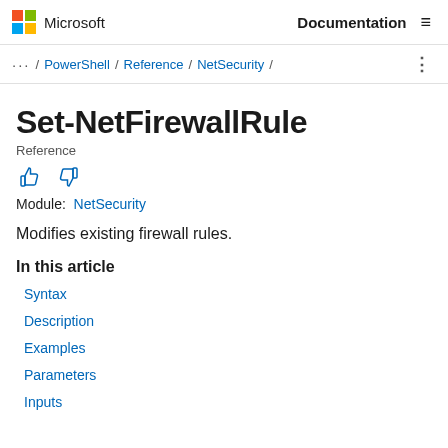Microsoft | Documentation
... / PowerShell / Reference / NetSecurity /
Set-NetFirewallRule
Reference
Module: NetSecurity
Modifies existing firewall rules.
In this article
Syntax
Description
Examples
Parameters
Inputs